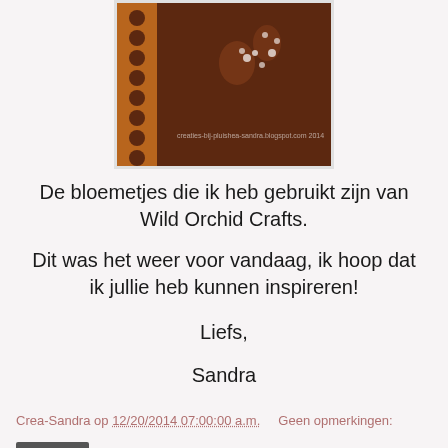[Figure (photo): Craft photo showing brown decorated item with white floral patterns, with watermark 'creaties-bij-pluishea-sandra.blogspot.com 2014']
De bloemetjes die ik heb gebruikt zijn van Wild Orchid Crafts.
Dit was het weer voor vandaag, ik hoop dat ik jullie heb kunnen inspireren!
Liefs,
Sandra
Crea-Sandra op 12/20/2014 07:00:00 a.m.    Geen opmerkingen:
Delen
woensdag 17 december 2014
The Stamping Chef - Anything Goes